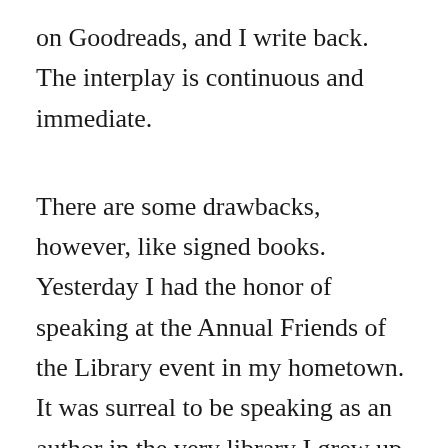on Goodreads, and I write back. The interplay is continuous and immediate.
There are some drawbacks, however, like signed books. Yesterday I had the honor of speaking at the Annual Friends of the Library event in my hometown. It was surreal to be speaking as an author in the very library I grew up in as a wee child. My love of reading was fostered in that building, and there I was at the podium, talking about my books, reading from THE HURRICANE, chatting with everyone afterward. The rush for books at the signing table was intense. My